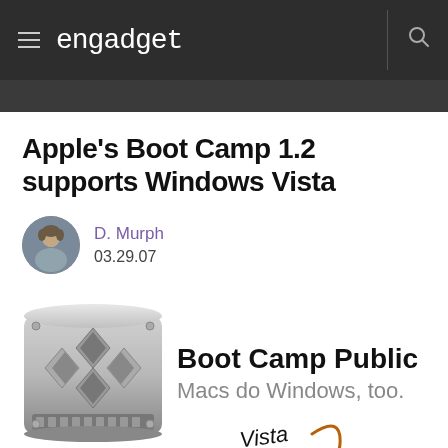engadget
Apple's Boot Camp 1.2 supports Windows Vista
D. Murph
03.29.07
[Figure (screenshot): Boot Camp Public Beta promotional image with hard drive icon, text 'Boot Camp Public Beta', 'Macs do Windows, too.' and 'Vista' with curved arrow]